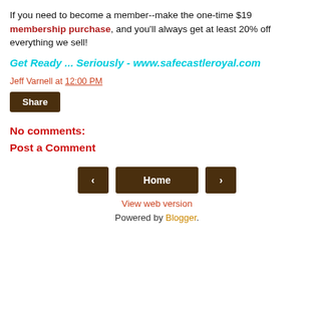If you need to become a member--make the one-time $19 membership purchase, and you'll always get at least 20% off everything we sell!
Get Ready ... Seriously - www.safecastleroyal.com
Jeff Varnell at 12:00 PM
Share
No comments:
Post a Comment
‹  Home  ›
View web version
Powered by Blogger.